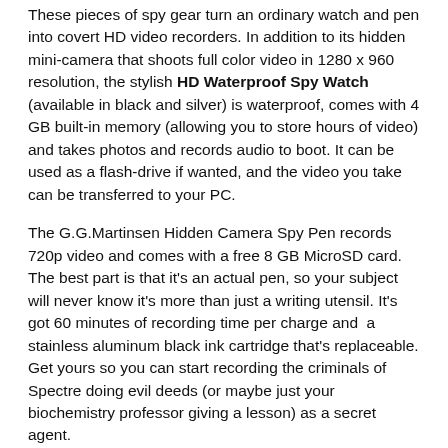These pieces of spy gear turn an ordinary watch and pen into covert HD video recorders. In addition to its hidden mini-camera that shoots full color video in 1280 x 960 resolution, the stylish HD Waterproof Spy Watch (available in black and silver) is waterproof, comes with 4 GB built-in memory (allowing you to store hours of video) and takes photos and records audio to boot. It can be used as a flash-drive if wanted, and the video you take can be transferred to your PC.
The G.G.Martinsen Hidden Camera Spy Pen records 720p video and comes with a free 8 GB MicroSD card. The best part is that it's an actual pen, so your subject will never know it's more than just a writing utensil. It's got 60 minutes of recording time per charge and a stainless aluminum black ink cartridge that's replaceable. Get yours so you can start recording the criminals of Spectre doing evil deeds (or maybe just your biochemistry professor giving a lesson) as a secret agent.
Price: $49.95 for the HD Waterproof Spy Watch on